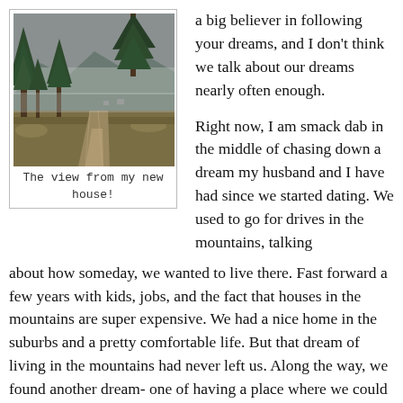[Figure (photo): Outdoor mountain landscape photo showing a dirt road/driveway lined with tall pine trees, with misty mountains in the background under a cloudy grey sky. Taken from an elevated vantage point looking down the driveway.]
The view from my new house!
a big believer in following your dreams, and I don't think we talk about our dreams nearly often enough.
Right now, I am smack dab in the middle of chasing down a dream my husband and I have had since we started dating. We used to go for drives in the mountains, talking about how someday, we wanted to live there. Fast forward a few years with kids, jobs, and the fact that houses in the mountains are super expensive. We had a nice home in the suburbs and a pretty comfortable life. But that dream of living in the mountains had never left us. Along the way, we found another dream- one of having a place where we could have horses. The more time passed, the more the idea of our dream kept coming up. And, after the wildest journey I could have imagined since early this year, it